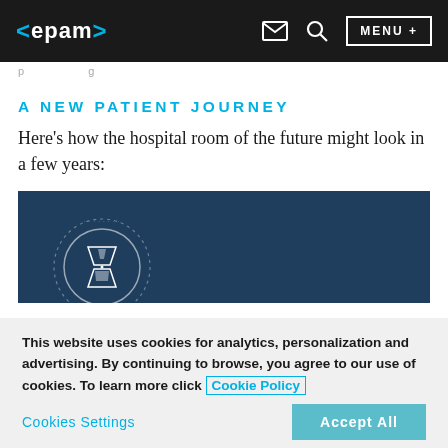<epam> [mail icon] [search icon] MENU +
p   g
A NEW PATIENT JOURNEY
Here's how the hospital room of the future might look in a few years:
[Figure (illustration): Dark blue infographic panel with a circular hourglass icon and dotted circle outline, partially visible at the bottom of the content area.]
This website uses cookies for analytics, personalization and advertising. By continuing to browse, you agree to our use of cookies. To learn more click Cookie Policy
Cookies Settings   Accept All